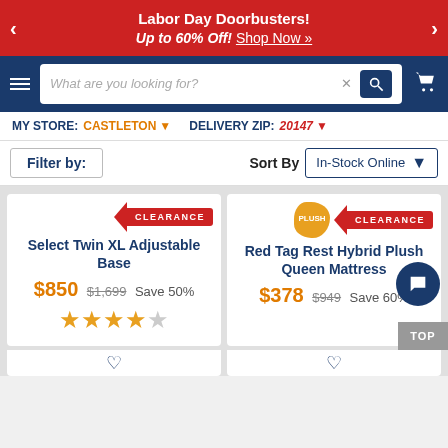Labor Day Doorbusters! Up to 60% Off! Shop Now »
[Figure (screenshot): E-commerce website navigation bar with search box and cart icon]
MY STORE: CASTLETON ▾   DELIVERY ZIP: 20147 ▾
Filter by:   Sort By  In-Stock Online ▾
CLEARANCE  Select Twin XL Adjustable Base  $850  $1,699  Save 50%  ★★★★½
PLUSH  CLEARANCE  Red Tag Rest Hybrid Plush Queen Mattress  $378  $949  Save 60%